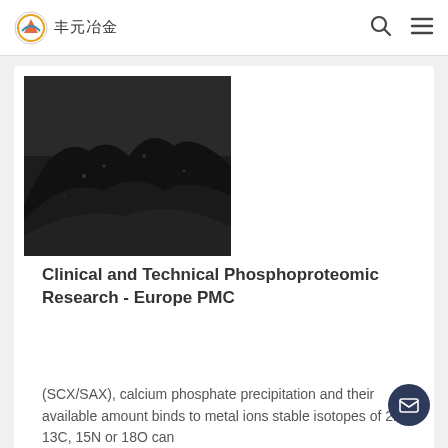丰元冶金
[Figure (photo): Pile of black granular/powder material (carbon or coal) outdoors]
Clinical and Technical Phosphoproteomic Research - Europe PMC
(SCX/SAX), calcium phosphate precipitation and their available amount binds to metal ions stable isotopes of 2H, 13C, 15N or 18O can
[Figure (photo): Steel coils or mesh material on ground near truck]